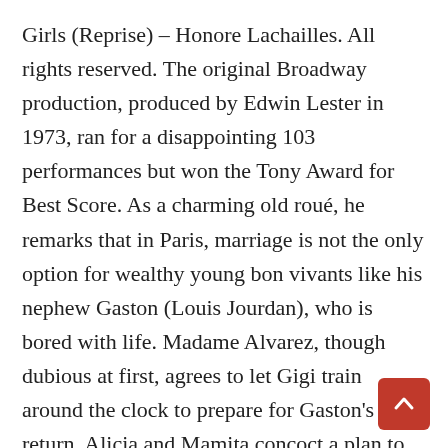Girls (Reprise) – Honore Lachailles. All rights reserved. The original Broadway production, produced by Edwin Lester in 1973, ran for a disappointing 103 performances but won the Tony Award for Best Score. As a charming old roué, he remarks that in Paris, marriage is not the only option for wealthy young bon vivants like his nephew Gaston (Louis Jourdan), who is bored with life. Madame Alvarez, though dubious at first, agrees to let Gigi train around the clock to prepare for Gaston's return. Alicia and Mamita concoct a plan to set Gigi up as Gaston's mistress, an arrangement Gigi remains blissfully unaware of. From Wikipedia, the free encyclopedia Gigi is a musical with a book and lyrics by Alan Jay Lerner and music by Frederick Loewe. It was adapted into a Broadway Musical in 1973 after the Film version won 9 Academy